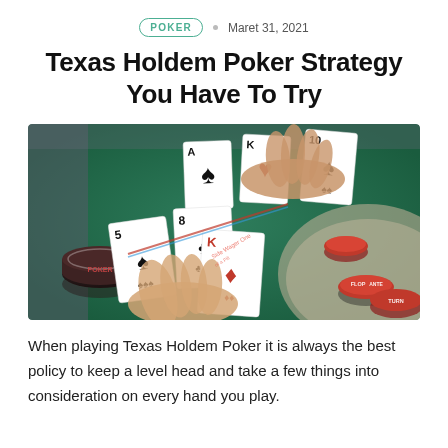POKER • Maret 31, 2021
Texas Holdem Poker Strategy You Have To Try
[Figure (photo): Overhead view of a Texas Holdem poker table with playing cards spread on green felt, poker chips including a large dark chip labeled POKER, betting circle markers labeled FLOP, ANTE, TURN, and two players' hands reaching across the table.]
When playing Texas Holdem Poker it is always the best policy to keep a level head and take a few things into consideration on every hand you play.